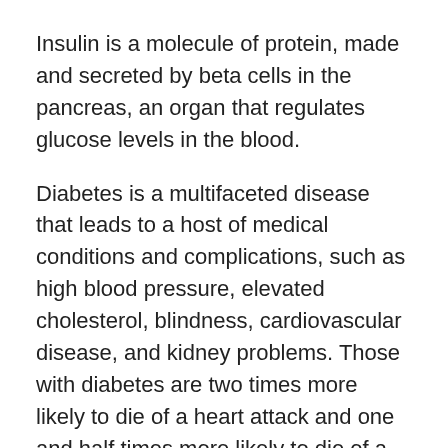Insulin is a molecule of protein, made and secreted by beta cells in the pancreas, an organ that regulates glucose levels in the blood.
Diabetes is a multifaceted disease that leads to a host of medical conditions and complications, such as high blood pressure, elevated cholesterol, blindness, cardiovascular disease, and kidney problems. Those with diabetes are two times more likely to die of a heart attack and one and half times more likely to die of a stroke. Diabetes is the leading cause of kidney failure, leading to transplants and dialysis. Almost 60 percent of lower extremity amputations are the result of diabetes.
Administering insulin is a common treatment for the disease and there are many different forms that can be used. Insulin can be injected by a syringe or delivered via